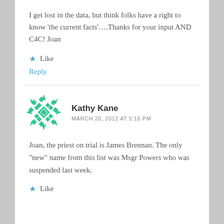I get lost in the data, but think folks have a right to know 'the current facts'....Thanks for your input AND C4C! Joan
★ Like
Reply
Kathy Kane
MARCH 20, 2012 AT 5:16 PM
Joan, the priest on trial is James Brennan. The only "new" name from this list was Msgr Powers who was suspended last week.
★ Like